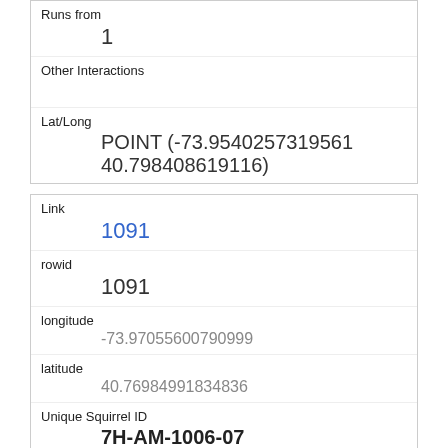| Runs from | 1 |
| Other Interactions |  |
| Lat/Long | POINT (-73.9540257319561 40.798408619116) |
| Link | 1091 |
| rowid | 1091 |
| longitude | -73.97055600790999 |
| latitude | 40.76984991834836 |
| Unique Squirrel ID | 7H-AM-1006-07 |
| Hectare | 07H |
| Shift | AM |